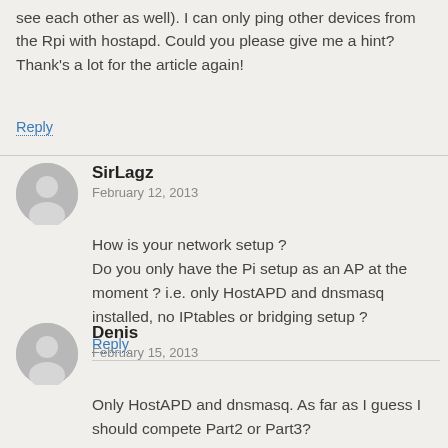see each other as well). I can only ping other devices from the Rpi with hostapd. Could you please give me a hint?
Thank's a lot for the article again!
Reply
SirLagz
February 12, 2013
How is your network setup ?
Do you only have the Pi setup as an AP at the moment ? i.e. only HostAPD and dnsmasq installed, no IPtables or bridging setup ?
Reply
Denis
February 15, 2013
Only HostAPD and dnsmasq. As far as I guess I should compete Part2 or Part3?
Reply